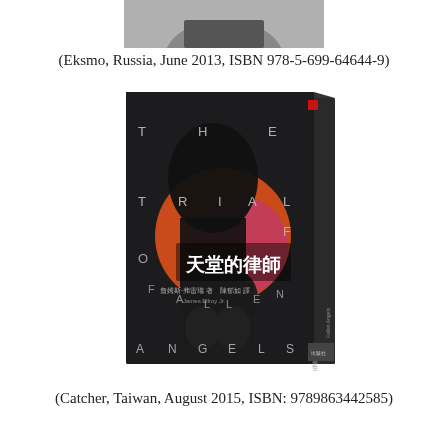(Eksmo, Russia, June 2013, ISBN 978-5-699-64644-9)
[Figure (photo): Book cover of 'The Trial of Fallen Angels' published in Taiwan by Catcher, showing Chinese title 天堂的律師 with dark silhouetted figure, orange-red circle, and scattered letters T-H-E / T-R-I-A-L / O-F / F-A-L-L-E-N / A-N-G-E-L-S on a dark background]
(Catcher, Taiwan, August 2015, ISBN: 9789863442585)